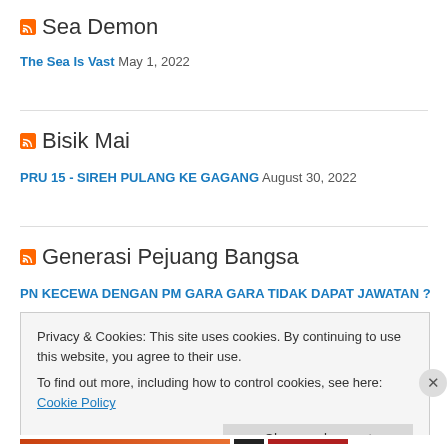Sea Demon
The Sea Is Vast  May 1, 2022
Bisik Mai
PRU 15 - SIREH PULANG KE GAGANG  August 30, 2022
Generasi Pejuang Bangsa
PN KECEWA DENGAN PM GARA GARA TIDAK DAPAT JAWATAN ?
Privacy & Cookies: This site uses cookies. By continuing to use this website, you agree to their use.
To find out more, including how to control cookies, see here: Cookie Policy